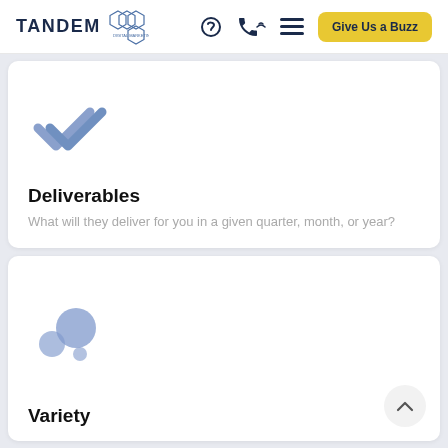TANDEM DIGITAL MARKETING — Navigation bar with Give Us a Buzz button
[Figure (illustration): Blue double checkmark icon]
Deliverables
What will they deliver for you in a given quarter, month, or year?
[Figure (illustration): Blue bubble/dots scatter icon representing Variety]
Variety